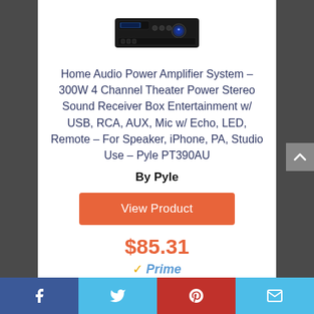[Figure (photo): Photo of the Pyle PT390AU home audio amplifier, a black rack-mount unit with blue LED display]
Home Audio Power Amplifier System – 300W 4 Channel Theater Power Stereo Sound Receiver Box Entertainment w/ USB, RCA, AUX, Mic w/ Echo, LED, Remote – For Speaker, iPhone, PA, Studio Use – Pyle PT390AU
By Pyle
View Product
$85.31
Prime
Facebook | Twitter | Pinterest | Email